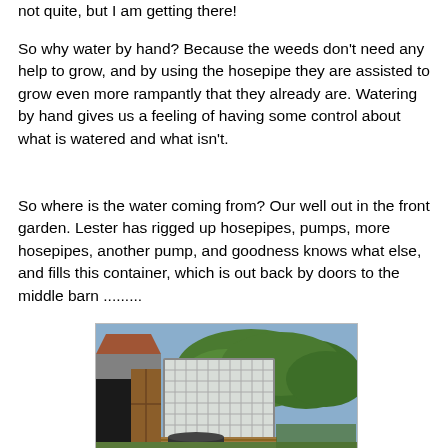not quite, but I am getting there!
So why water by hand? Because the weeds don't need any help to grow, and by using the hosepipe they are assisted to grow even more rampantly that they already are. Watering by hand gives us a feeling of having some control about what is watered and what isn't.
So where is the water coming from? Our well out in the front garden. Lester has rigged up hosepipes, pumps, more hosepipes, another pump, and goodness knows what else, and fills this container, which is out back by doors to the middle barn .........
[Figure (photo): A large white IBC container/water tank in a metal cage frame, sitting outdoors beside a barn building with a wooden door and stone/concrete walls. Dense green bushes/hedges are visible in the background. A black circular tub is on the ground in front of the tank. Blue sky visible above.]